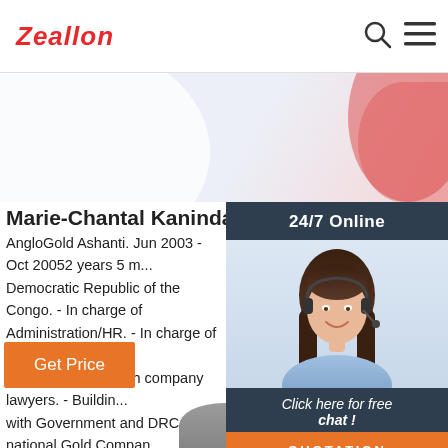Zeallon
[Figure (photo): Website banner with light background, white and pink decorative circular shapes]
[Figure (photo): 24/7 Online chat widget showing a smiling female customer service agent wearing a headset, with a 'Click here for free chat!' text and QUOTATION button]
Marie-Chantal Kaninda - Executive Director H
AngloGold Ashanti. Jun 2003 - Oct 20052 years 5 m... Democratic Republic of the Congo. - In charge of Administration/HR. - In charge of legal labour ma... close interaction with company lawyers. - Buildin... with Government and DRC national Gold Compan...
Get Price